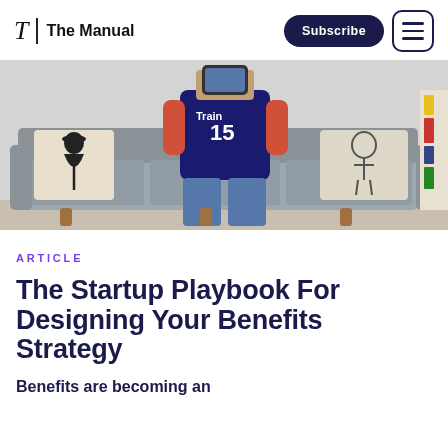T | The Manual
[Figure (photo): A person wearing a navy sports jersey with number 15 and jeans, sitting on a grey couch with decorative pillows (one showing a witch silhouette, another with skeletons). A bookshelf is visible in the background.]
ARTICLE
The Startup Playbook For Designing Your Benefits Strategy
Benefits are becoming an